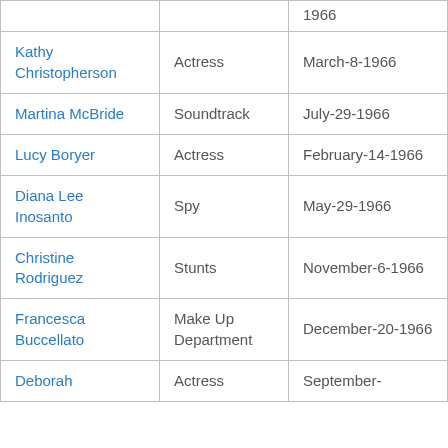| Name | Role | Date |
| --- | --- | --- |
|  |  | 1966 |
| Kathy Christopherson | Actress | March-8-1966 |
| Martina McBride | Soundtrack | July-29-1966 |
| Lucy Boryer | Actress | February-14-1966 |
| Diana Lee Inosanto | Spy | May-29-1966 |
| Christine Rodriguez | Stunts | November-6-1966 |
| Francesca Buccellato | Make Up Department | December-20-1966 |
| Deborah | Actress | September- |